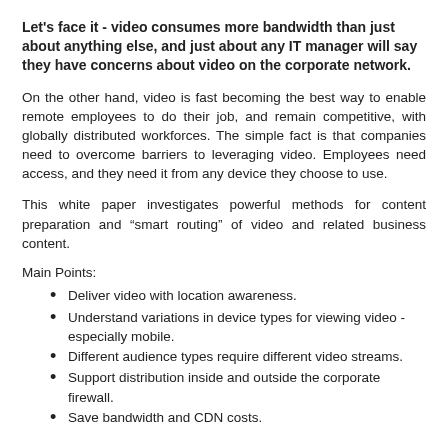Let's face it - video consumes more bandwidth than just about anything else, and just about any IT manager will say they have concerns about video on the corporate network.
On the other hand, video is fast becoming the best way to enable remote employees to do their job, and remain competitive, with globally distributed workforces. The simple fact is that companies need to overcome barriers to leveraging video. Employees need access, and they need it from any device they choose to use.
This white paper investigates powerful methods for content preparation and “smart routing” of video and related business content.
Main Points:
Deliver video with location awareness.
Understand variations in device types for viewing video - especially mobile.
Different audience types require different video streams.
Support distribution inside and outside the corporate firewall.
Save bandwidth and CDN costs.